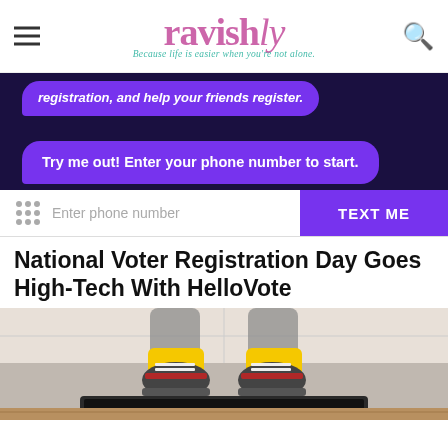ravishly — Because life is easier when you're not alone.
[Figure (screenshot): Screenshot of HelloVote chatbot interface on dark purple/navy background showing purple speech bubbles with text 'registration, and help your friends register.' and 'Try me out! Enter your phone number to start.' with a phone number input bar and purple TEXT ME button.]
National Voter Registration Day Goes High-Tech With HelloVote
[Figure (photo): Photo taken from above showing yellow socks and sneakers with a tablet/laptop visible below, person sitting on wooden surface.]